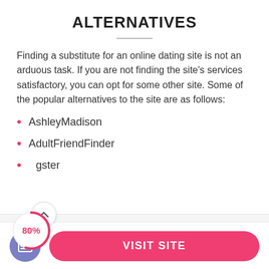ALTERNATIVES
Finding a substitute for an online dating site is not an arduous task. If you are not finding the site’s services satisfactory, you can opt for some other site. Some of the popular alternatives to the site are as follows:
AshleyMadison
AdultFriendFinder
gster
[Figure (screenshot): Screenshot showing a profile completion badge reading 80% in red/pink circular indicator, a female silhouette avatar, and a panel reading 'Share more info about you!']
VISIT SITE